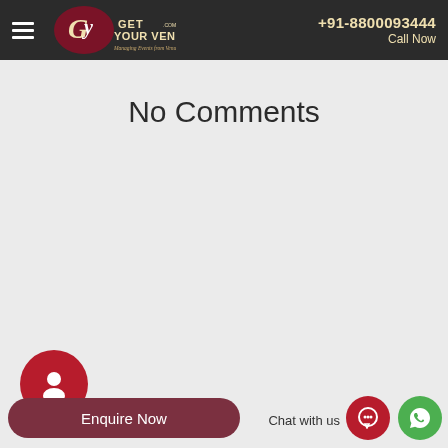+91-8800093444 Call Now — Get Your Venue | Managing Events from Venue to Show
No Comments
[Figure (screenshot): Enquire Now button and Chat with us icons in the bottom footer bar]
Enquire Now  Chat with us